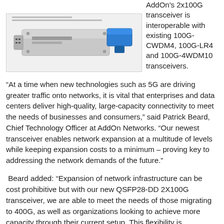[Figure (photo): Photo of a network transceiver module — a rectangular silver/grey hardware component with a blue pull-tab, displayed against a white background with a light border.]
AddOn's 2x100G transceiver is interoperable with existing 100G-CWDM4, 100G-LR4 and 100G-4WDM10 transceivers.
“At a time when new technologies such as 5G are driving greater traffic onto networks, it is vital that enterprises and data centers deliver high-quality, large-capacity connectivity to meet the needs of businesses and consumers,” said Patrick Beard, Chief Technology Officer at AddOn Networks. “Our newest transceiver enables network expansion at a multitude of levels while keeping expansion costs to a minimum – proving key to addressing the network demands of the future.”
Beard added: “Expansion of network infrastructure can be cost prohibitive but with our new QSFP28-DD 2X100G transceiver, we are able to meet the needs of those migrating to 400G, as well as organizations looking to achieve more capacity through their current setup. This flexibility is something that we pride ourselves on as a global